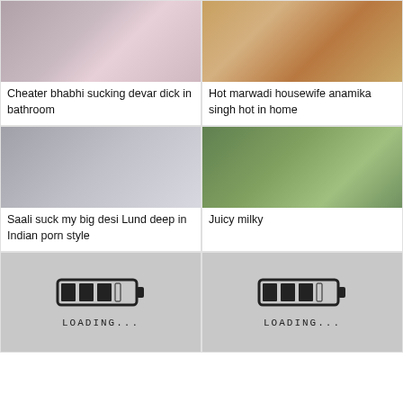[Figure (photo): Blurred close-up photo thumbnail]
Cheater bhabhi sucking devar dick in bathroom
[Figure (photo): Colorful fabric/clothing photo thumbnail]
Hot marwadi housewife anamika singh hot in home
[Figure (photo): Dark composite photo thumbnail]
Saali suck my big desi Lund deep in Indian porn style
[Figure (photo): Outdoor photo thumbnail]
Juicy milky
[Figure (illustration): Loading placeholder with battery/loading icon and text LOADING...]
[Figure (illustration): Loading placeholder with battery/loading icon and text LOADING...]